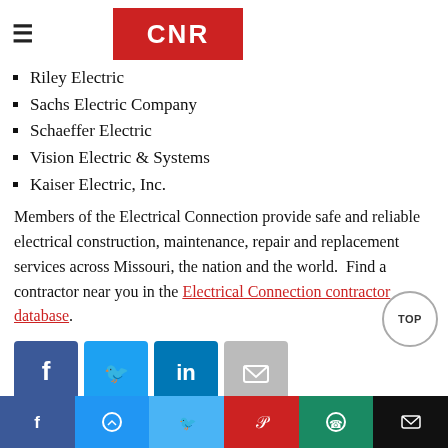CNR
Riley Electric
Sachs Electric Company
Schaeffer Electric
Vision Electric & Systems
Kaiser Electric, Inc.
Members of the Electrical Connection provide safe and reliable electrical construction, maintenance, repair and replacement services across Missouri, the nation and the world.  Find a contractor near you in the Electrical Connection contractor database.
[Figure (infographic): Social media share buttons: Facebook, Twitter, LinkedIn, Email]
[Figure (infographic): Bottom share bar with Facebook, Messenger, Twitter, Pinterest, WhatsApp, Email buttons and TOP scroll button]